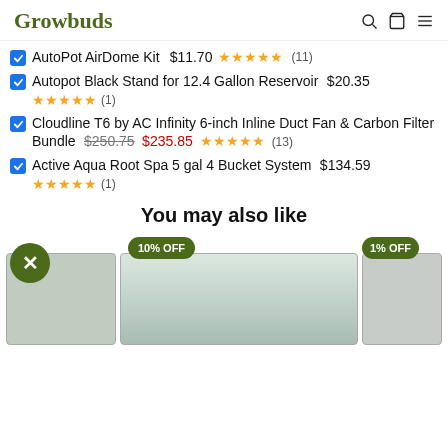Growbuds
AutoPot AirDome Kit $11.70 ★★★★★ (11)
Autopot Black Stand for 12.4 Gallon Reservoir $20.35 ★★★★★ (1)
Cloudline T6 by AC Infinity 6-inch Inline Duct Fan & Carbon Filter Bundle $250.75 $235.85 ★★★★★ (13)
Active Aqua Root Spa 5 gal 4 Bucket System $134.59 ★★★★★ (1)
You may also like
[Figure (photo): Product cards showing grow tent and accessories with discount badges: 10% OFF and 1% OFF]